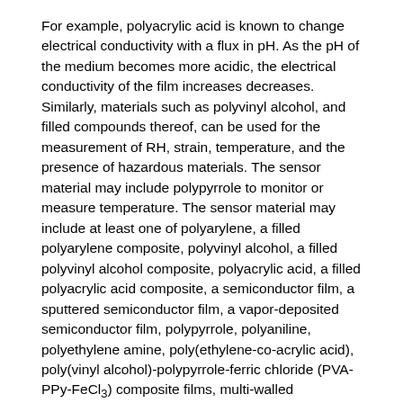For example, polyacrylic acid is known to change electrical conductivity with a flux in pH. As the pH of the medium becomes more acidic, the electrical conductivity of the film increases decreases. Similarly, materials such as polyvinyl alcohol, and filled compounds thereof, can be used for the measurement of RH, strain, temperature, and the presence of hazardous materials. The sensor material may include polypyrrole to monitor or measure temperature. The sensor material may include at least one of polyarylene, a filled polyarylene composite, polyvinyl alcohol, a filled polyvinyl alcohol composite, polyacrylic acid, a filled polyacrylic acid composite, a semiconductor film, a sputtered semiconductor film, a vapor-deposited semiconductor film, polypyrrole, polyaniline, polyethylene amine, poly(ethylene-co-acrylic acid), poly(vinyl alcohol)-polypyrrole-ferric chloride (PVA-PPy-FeCl₃) composite films, multi-walled carbon nanotube (MWCNT)/poly(vinylidene fluoride) (PVDF), polycaprolactam, Nylon-6,6, poly oxymethylene, high density polyethylene, and combinations of two or more of these. The sensor may measure or monitor a concentration of hydrogens resulting in a pH of from 1 to 13.